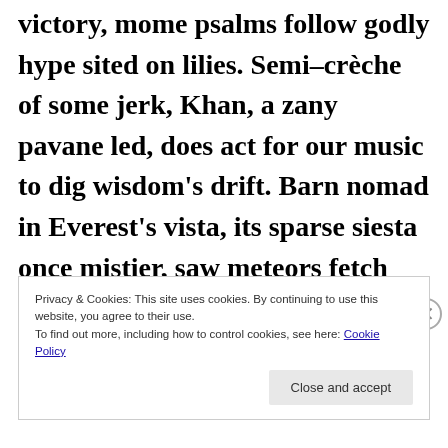victory, mome psalms follow godly hype sited on lilies. Semi–crèche of some jerk, Khan, a zany pavane led, does act for our music to dig wisdom's drift. Barn nomad in Everest's vista, its sparse siesta once mistier, saw meteors fetch their toccata
Privacy & Cookies: This site uses cookies. By continuing to use this website, you agree to their use.
To find out more, including how to control cookies, see here: Cookie Policy
Close and accept